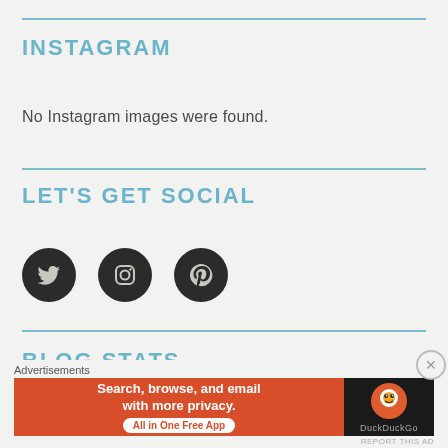INSTAGRAM
No Instagram images were found.
LET'S GET SOCIAL
[Figure (illustration): Three circular dark icons in a row: Twitter bird, Instagram camera, Pinterest P]
BLOG STATS
[Figure (screenshot): DuckDuckGo advertisement banner with text: Search, browse, and email with more privacy. All in One Free App]
Advertisements
REPORT THIS AD